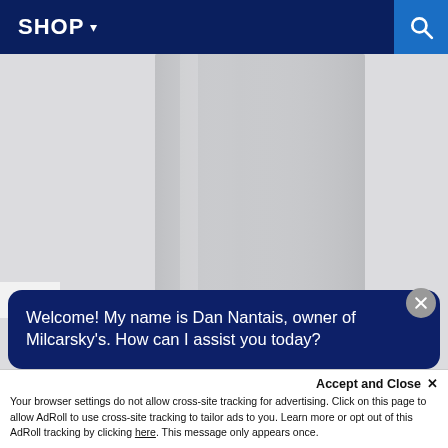SHOP ▾
[Figure (photo): A stainless steel built-in dishwasher or refrigerator front panel on a light gray background]
Welcome! My name is Dan Nantais, owner of Milcarsky's. How can I assist you today?
Accept and Close ✕
Your browser settings do not allow cross-site tracking for advertising. Click on this page to allow AdRoll to use cross-site tracking to tailor ads to you. Learn more or opt out of this AdRoll tracking by clicking here. This message only appears once.